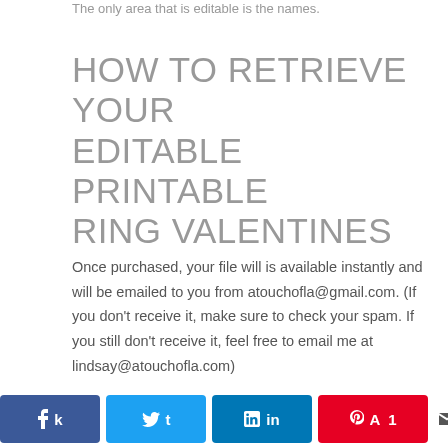The only area that is editable is the names.
HOW TO RETRIEVE YOUR EDITABLE PRINTABLE RING VALENTINES
Once purchased, your file will is available instantly and will be emailed to you from atouchofla@gmail.com. (If you don't receive it, make sure to check your spam. If you still don't receive it, feel free to email me at lindsay@atouchofla.com)
NOTE ABOUT EDITABLE
k Share  t Tweet  in Share  A Pin  1  < SHARES